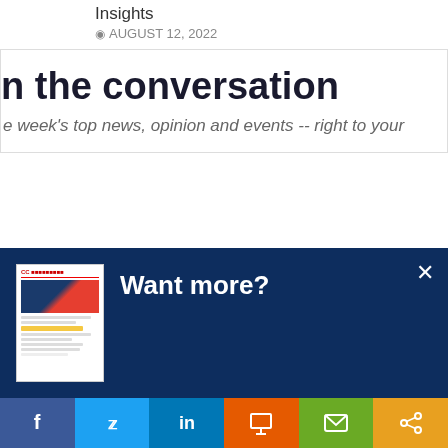Insights
AUGUST 12, 2022
n the conversation
e week's top news, opinion and events -- right to your
[Figure (screenshot): Newsletter popup modal with dark blue background, thumbnail image of CCI newsletter, 'Want more?' heading, description text, and 'Let's do this!' button]
Get CCI's weekly round-up in your inbox. Unsubscribe anytime.
Let's do this!
[Figure (infographic): Social share bar with Facebook, Twitter, LinkedIn, Print, Email, and Share buttons]